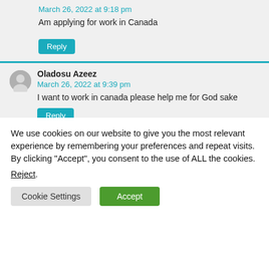March 26, 2022 at 9:18 pm
Am applying for work in Canada
Reply
Oladosu Azeez
March 26, 2022 at 9:39 pm
I want to work in canada please help me for God sake
We use cookies on our website to give you the most relevant experience by remembering your preferences and repeat visits. By clicking “Accept”, you consent to the use of ALL the cookies.
Reject.
Cookie Settings
Accept